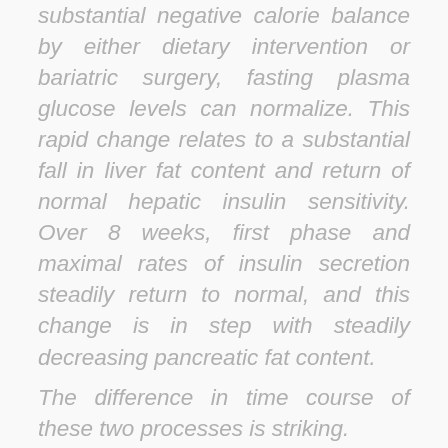substantial negative calorie balance by either dietary intervention or bariatric surgery, fasting plasma glucose levels can normalize. This rapid change relates to a substantial fall in liver fat content and return of normal hepatic insulin sensitivity. Over 8 weeks, first phase and maximal rates of insulin secretion steadily return to normal, and this change is in step with steadily decreasing pancreatic fat content.
The difference in time course of these two processes is striking.